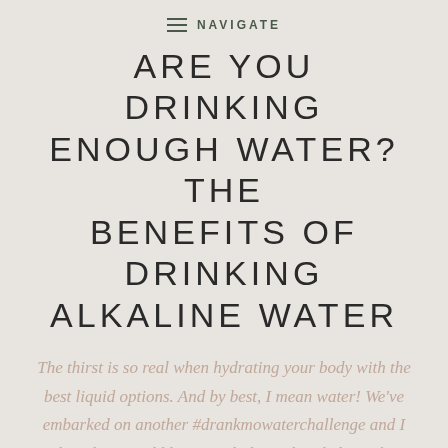NAVIGATE
ARE YOU DRINKING ENOUGH WATER? THE BENEFITS OF DRINKING ALKALINE WATER
The thirst is so real when hydrating your body with the best liquid options. And by best, I mean water! We've embarked on another #drankmowaterchallenge and I thought it would be a good idea to break down the benefits of (my favorite) alkaline water. We all know my story with water – we've had a [...]